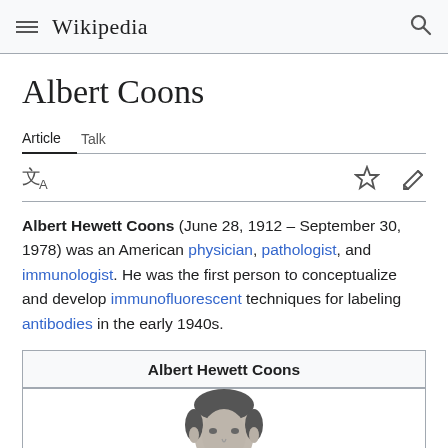≡ Wikipedia 🔍
Albert Coons
Article  Talk
Albert Hewett Coons (June 28, 1912 – September 30, 1978) was an American physician, pathologist, and immunologist. He was the first person to conceptualize and develop immunofluorescent techniques for labeling antibodies in the early 1940s.
| Albert Hewett Coons |
| --- |
| [photo] |